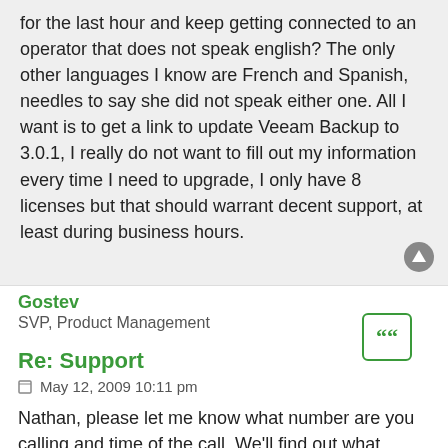for the last hour and keep getting connected to an operator that does not speak english? The only other languages I know are French and Spanish, needles to say she did not speak either one. All I want is to get a link to update Veeam Backup to 3.0.1, I really do not want to fill out my information every time I need to upgrade, I only have 8 licenses but that should warrant decent support, at least during business hours.
Gostev
SVP, Product Management
Re: Support
May 12, 2009 10:11 pm
Nathan, please let me know what number are you calling and time of the call. We'll find out what happened. Sorry about this.
As for the download link, you should have received your personal link to the Download area for all products in the initial email with trial license after your first